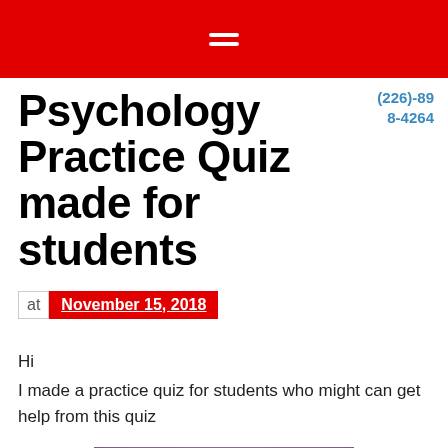≡
Psychology Practice Quiz made for students
(226)-89 8-4264
at November 15, 2018
Hi
I made a practice quiz for students who might can get help from this quiz
[Figure (photo): A baseball with handwritten text reading 'finds dishes for advice' on a purple/pink background]